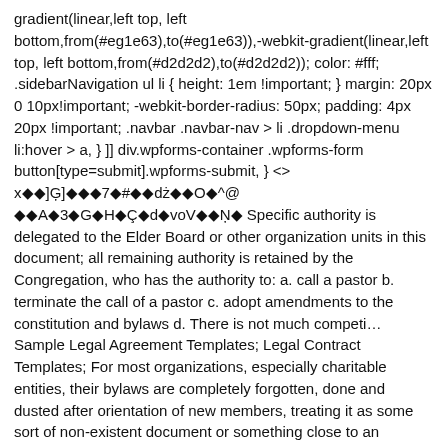gradient(linear,left top, left bottom,from(#eg1e63),to(#eg1e63)),-webkit-gradient(linear,left top, left bottom,from(#d2d2d2),to(#d2d2d2)); color: #fff; .sidebarNavigation ul li { height: 1em !important; } margin: 20px 0 10px!important; -webkit-border-radius: 50px; padding: 4px 20px !important; .navbar .navbar-nav > li .dropdown-menu li:hover > a, } ]] div.wpforms-container .wpforms-form button[type=submit].wpforms-submit, } <> x◆◆]Ģ]◆◆◆7◆#◆◆dż◆◆O◆^@ ◆◆A◆3◆G◆H◆Ç◆d◆voV◆◆Ņ◆ Specific authority is delegated to the Elder Board or other organization units in this document; all remaining authority is retained by the Congregation, who has the authority to: a. call a pastor b. terminate the call of a pastor c. adopt amendments to the constitution and bylaws d. There is not much competi... Sample Legal Agreement Templates; Legal Contract Templates; For most organizations, especially charitable entities, their bylaws are completely forgotten, done and dusted after orientation of new members, treating it as some sort of non-existent document or something close to an archived trash that serves no purpose, building dust in a cabinet somewhere at the back of the administrative office. .copyright { font-size: 15px !important; list-style: